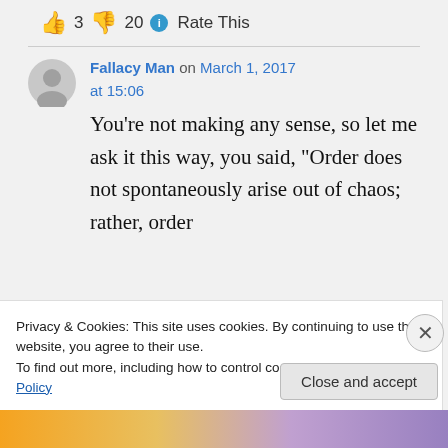👍 3 👎 20 ℹ Rate This
Fallacy Man on March 1, 2017 at 15:06
You're not making any sense, so let me ask it this way, you said, "Order does not spontaneously arise out of chaos; rather, order
Privacy & Cookies: This site uses cookies. By continuing to use this website, you agree to their use.
To find out more, including how to control cookies, see here: Cookie Policy
Close and accept